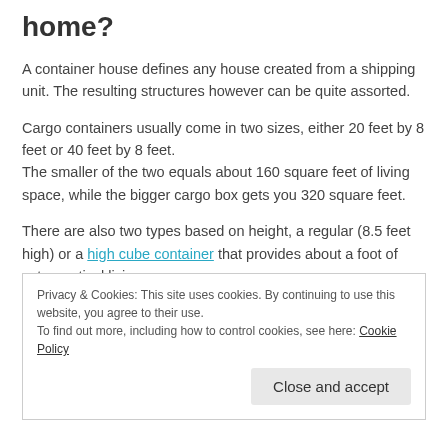home?
A container house defines any house created from a shipping unit. The resulting structures however can be quite assorted.
Cargo containers usually come in two sizes, either 20 feet by 8 feet or 40 feet by 8 feet. The smaller of the two equals about 160 square feet of living space, while the bigger cargo box gets you 320 square feet.
There are also two types based on height, a regular (8.5 feet high) or a high cube container that provides about a foot of extra vertical living space.
Privacy & Cookies: This site uses cookies. By continuing to use this website, you agree to their use. To find out more, including how to control cookies, see here: Cookie Policy Close and accept